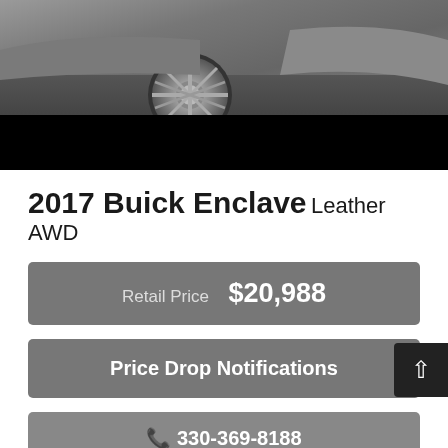[Figure (photo): Partial photo of a 2017 Buick Enclave vehicle showing the front wheel and lower front fascia, with a dark/black band below the vehicle image]
2017 Buick Enclave Leather AWD
Retail Price  $20,988
Price Drop Notifications
330-369-8188
Text Us